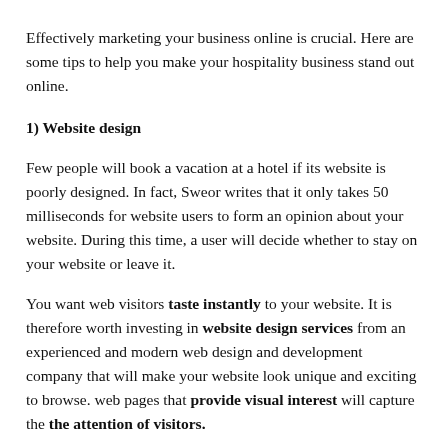Effectively marketing your business online is crucial. Here are some tips to help you make your hospitality business stand out online.
1) Website design
Few people will book a vacation at a hotel if its website is poorly designed. In fact, Sweor writes that it only takes 50 milliseconds for website users to form an opinion about your website. During this time, a user will decide whether to stay on your website or leave it.
You want web visitors taste instantly to your website. It is therefore worth investing in website design services from an experienced and modern web design and development company that will make your website look unique and exciting to browse. web pages that provide visual interest will capture the the attention of visitors.